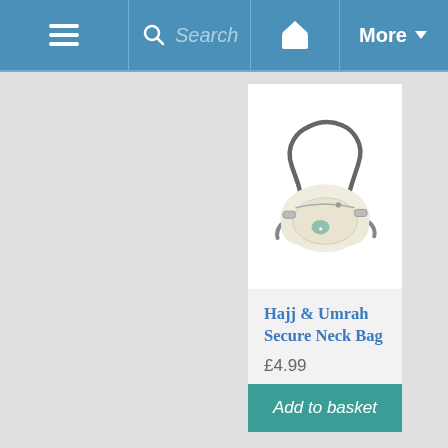≡  Search  🧺  More ▼
[Figure (photo): A cream/beige colored secure neck bag with a dark gray adjustable strap, shown from the front with straps spread out to the sides. Small decorative logo on the front pocket.]
Hajj & Umrah Secure Neck Bag
£4.99
Add to basket